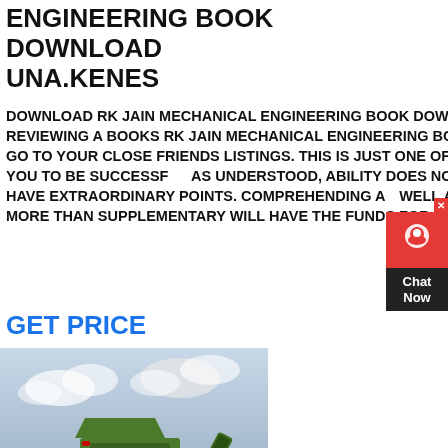ENGINEERING BOOK DOWNLOAD UNA.KENES
DOWNLOAD RK JAIN MECHANICAL ENGINEERING BOOK DOWNLOAD YEAH, REVIEWING A BOOKS RK JAIN MECHANICAL ENGINEERING BOOK DOWNLOAD COULD GO TO YOUR CLOSE FRIENDS LISTINGS. THIS IS JUST ONE OF THE SOLUTIONS FOR YOU TO BE SUCCESSFUL AS UNDERSTOOD, ABILITY DOES NOT SUGGEST THAT YOU HAVE EXTRAORDINARY POINTS. COMPREHENDING AS WELL AS CONFORMITY EVEN MORE THAN SUPPLEMENTARY WILL HAVE THE FUNDS FOR
GET PRICE
[Figure (photo): Green industrial crushing/screening machine equipment outdoors with conveyor belts against a cloudy sky]